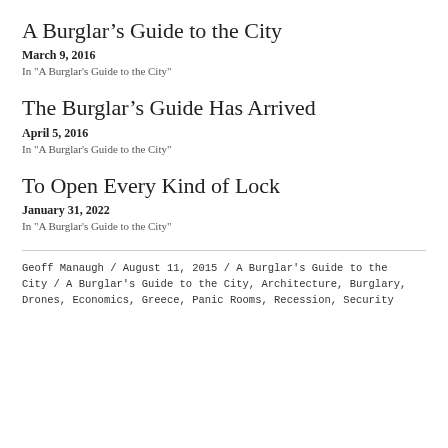A Burglar’s Guide to the City
March 9, 2016
In "A Burglar's Guide to the City"
The Burglar’s Guide Has Arrived
April 5, 2016
In "A Burglar's Guide to the City"
To Open Every Kind of Lock
January 31, 2022
In "A Burglar's Guide to the City"
Geoff Manaugh / August 11, 2015 / A Burglar's Guide to the City / A Burglar's Guide to the City, Architecture, Burglary, Drones, Economics, Greece, Panic Rooms, Recession, Security